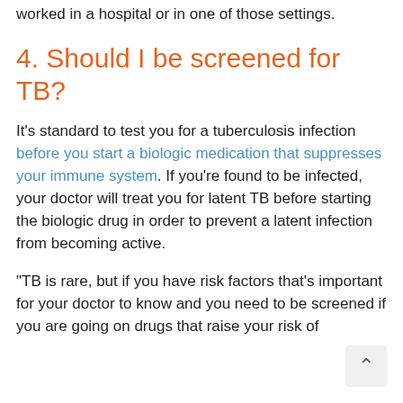worked in a hospital or in one of those settings.
4. Should I be screened for TB?
It's standard to test you for a tuberculosis infection before you start a biologic medication that suppresses your immune system. If you're found to be infected, your doctor will treat you for latent TB before starting the biologic drug in order to prevent a latent infection from becoming active.
“TB is rare, but if you have risk factors that's important for your doctor to know and you need to be screened if you are going on drugs that raise your risk of